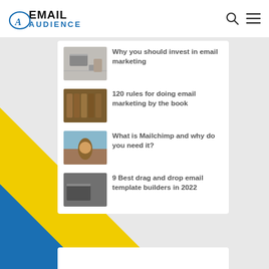EMAIL AUDIENCE
Why you should invest in email marketing
120 rules for doing email marketing by the book
What is Mailchimp and why do you need it?
9 Best drag and drop email template builders in 2022
[Figure (illustration): Diagonal blue and yellow stripe decoration in bottom-left corner]